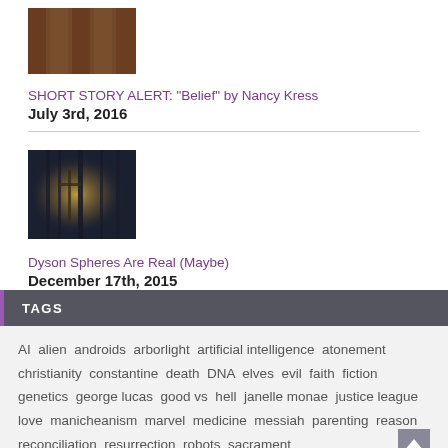[Figure (photo): Thumbnail image showing wooden/brown textured surface, partially visible at top]
SHORT STORY ALERT: "Belief" by Nancy Kress
July 3rd, 2016
[Figure (photo): Dark atmospheric image showing trees or cross silhouettes with glowing light]
Dyson Spheres Are Real (Maybe)
December 17th, 2015
TAGS
AI alien androids arborlight artificial intelligence atonement christianity constantine death DNA elves evil faith fiction genetics george lucas good vs hell janelle monae justice league love manicheanism marvel medicine messiah parenting reason reconciliation resurrection robots sacrament